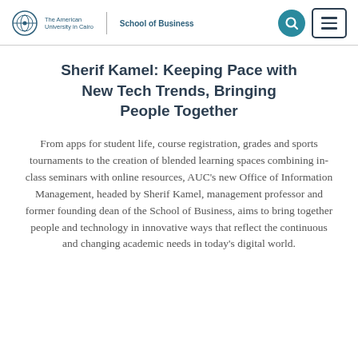The American University in Cairo | School of Business
Sherif Kamel: Keeping Pace with New Tech Trends, Bringing People Together
From apps for student life, course registration, grades and sports tournaments to the creation of blended learning spaces combining in-class seminars with online resources, AUC's new Office of Information Management, headed by Sherif Kamel, management professor and former founding dean of the School of Business, aims to bring together people and technology in innovative ways that reflect the continuous and changing academic needs in today's digital world.